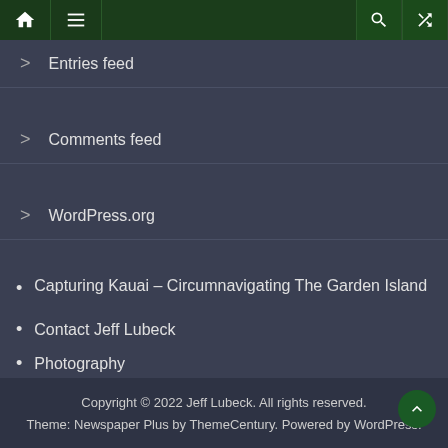Navigation bar with home, menu, search, shuffle icons
> Entries feed
> Comments feed
> WordPress.org
• Capturing Kauai – Circumnavigating The Garden Island
• Contact Jeff Lubeck
• Photography
• MESH Gallery
Copyright © 2022 Jeff Lubeck. All rights reserved. Theme: Newspaper Plus by ThemeCentury. Powered by WordPress.